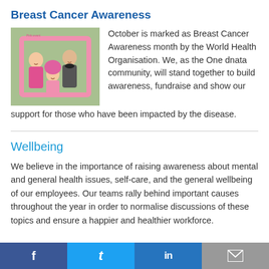Breast Cancer Awareness
[Figure (photo): Three people in pink attire holding a pink frame, smiling, at a Breast Cancer Awareness event.]
October is marked as Breast Cancer Awareness month by the World Health Organisation. We, as the One dnata community, will stand together to build awareness, fundraise and show our support for those who have been impacted by the disease.
Wellbeing
We believe in the importance of raising awareness about mental and general health issues, self-care, and the general wellbeing of our employees. Our teams rally behind important causes throughout the year in order to normalise discussions of these topics and ensure a happier and healthier workforce.